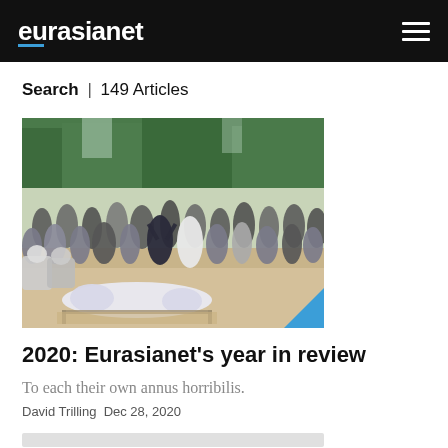eurasianet
Search | 149 Articles
[Figure (photo): Crowd of people gathered at what appears to be an outdoor funeral or burial scene, with some wearing white protective suits and face masks, and a shrouded body visible in the foreground on the ground.]
2020: Eurasianet’s year in review
To each their own annus horribilis.
David Trilling Dec 28, 2020